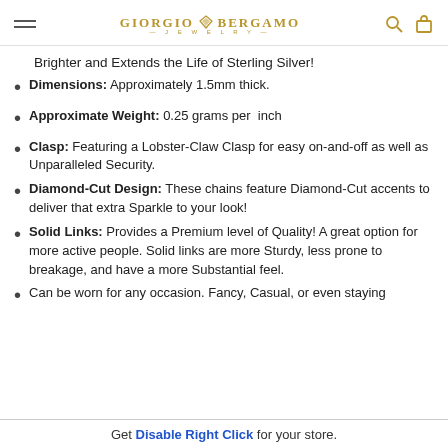Giorgio Bergamo Jewelry
Brighter and Extends the Life of Sterling Silver!
Dimensions: Approximately 1.5mm thick.
Approximate Weight: 0.25 grams per inch
Clasp: Featuring a Lobster-Claw Clasp for easy on-and-off as well as Unparalleled Security.
Diamond-Cut Design: These chains feature Diamond-Cut accents to deliver that extra Sparkle to your look!
Solid Links: Provides a Premium level of Quality! A great option for more active people. Solid links are more Sturdy, less prone to breakage, and have a more Substantial feel.
Can be worn for any occasion. Fancy, Casual, or even staying...
Get Disable Right Click for your store.